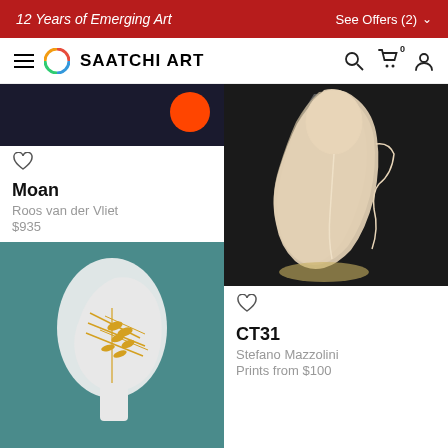12 Years of Emerging Art | See Offers (2)
[Figure (screenshot): Saatchi Art website navigation bar with hamburger menu, circular colorful logo, SAATCHI ART text, search icon, cart icon with 0 badge, and user icon]
[Figure (photo): Dark navy artwork with orange circle element, partially cropped at top]
Moan
Roos van der Vliet
$935
[Figure (photo): Artwork showing a white profile silhouette of a face with gold leaf/botanical designs on teal/blue background]
[Figure (photo): Abstract artwork on black background showing a nude figure silhouette outline in beige/cream tones]
CT31
Stefano Mazzolini
Prints from $100